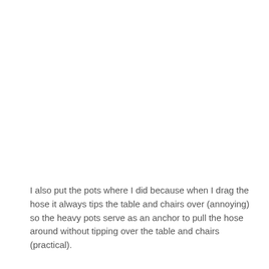I also put the pots where I did because when I drag the hose it always tips the table and chairs over (annoying) so the heavy pots serve as an anchor to pull the hose around without tipping over the table and chairs (practical).